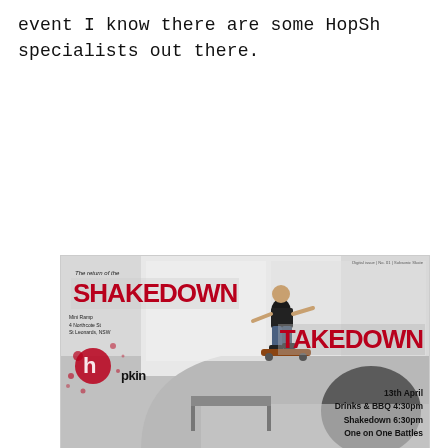event I know there are some HopSh specialists out there.
[Figure (photo): Promotional flyer for 'The return of the SHAKEDOWN TAKEDOWN' skateboarding event at Hopkin Mini Ramp, 4 Northcote St, St Leonards. Features a skateboarder performing a trick. Event details: 13th April, Drinks & BBQ 4:30pm, Shakedown 6:30pm, One on One Battles.]